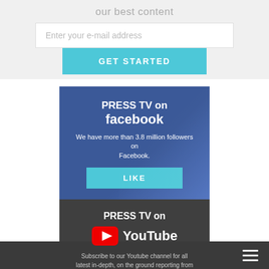our best content
Enter your e-mail address
GET STARTED
[Figure (infographic): Press TV on Facebook promotional banner with blue gradient background. Title reads 'PRESS TV on facebook'. Text: 'We have more than 3.8 million followers on Facebook.' Button: 'LIKE']
[Figure (infographic): Press TV on YouTube promotional banner with dark background showing silhouettes. Title reads 'PRESS TV on' with YouTube logo. Text: 'Subscribe to our Youtube channel for all latest in-depth, on the ground reporting from around the world.']